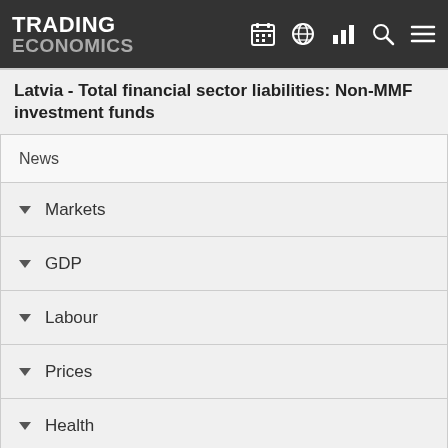TRADING ECONOMICS
Latvia - Total financial sector liabilities: Non-MMF investment funds
News
Markets
GDP
Labour
Prices
Health
Money
Trade